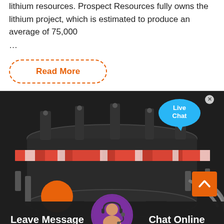lithium resources. Prospect Resources fully owns the lithium project, which is estimated to produce an average of 75,000
…
Read More
[Figure (photo): Close-up photograph of industrial heavy mining or processing machinery, predominantly dark grey/black metal with an orange/red striped horizontal band. A 'Live Chat' speech bubble UI overlay appears in the top right. A 'Leave Message' and 'Chat Online' bar appears at the bottom with a customer service agent avatar.]